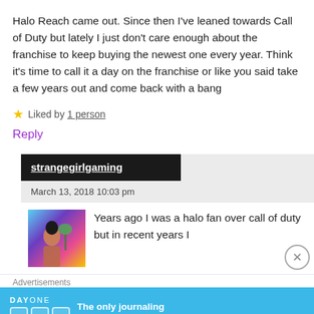Halo Reach came out. Since then I've leaned towards Call of Duty but lately I just don't care enough about the franchise to keep buying the newest one every year. Think it's time to call it a day on the franchise or like you said take a few years out and come back with a bang
Liked by 1 person
Reply
strangegirlgaming
March 13, 2018 10:03 pm
[Figure (photo): Avatar photo of a person with dark hair against a colorful background]
Years ago I was a halo fan over call of duty but in recent years I
Advertisements
[Figure (infographic): Day One journaling app advertisement banner — 'The only journaling app you'll ever need.']